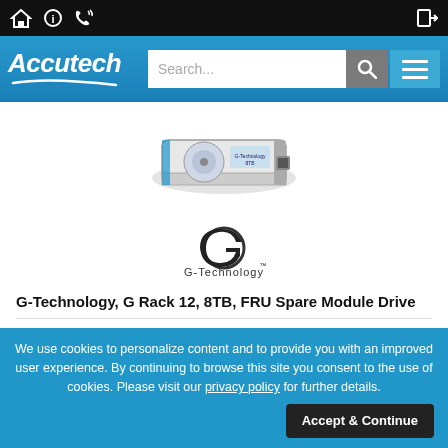Accutech - navigation bar with icons
[Figure (logo): Accutech company logo with italic text and swoosh, on blue header bar with search box and menu button]
[Figure (photo): Hard drive product photo - G-Technology 8TB FRU Spare Module Drive]
[Figure (logo): G-Technology brand logo with circular G icon and brand name]
G-Technology, G Rack 12, 8TB, FRU Spare Module Drive
| Field | Value |
| --- | --- |
| MFG #: | 0G04940 |
| Atech #: | GT0G04940 |
| UPC: | 705487203356 |
We use cookies to personalize content and to provide you with an improved user experience. By continuing to browse this site you consent to the use of cookies. Please visit our privacy policy for further details.